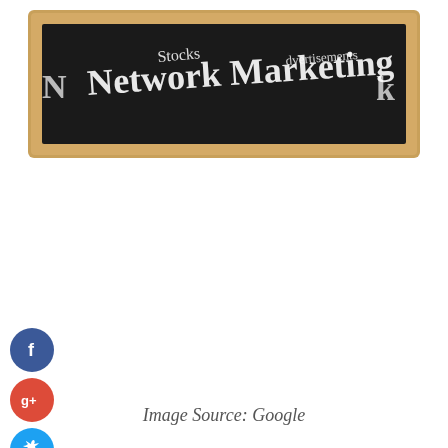[Figure (illustration): A chalkboard with wooden frame showing chalked text: 'Stocks', 'Network Marketing', 'Advertisements' and partial other words written in white chalk on a dark blackboard background.]
[Figure (illustration): Social media sharing icons arranged vertically on the left side: Facebook (blue circle with 'f'), Google+ (red circle with 'g+'), Twitter (light blue circle with bird icon), and a dark Add/Plus circle with '+' symbol.]
Image Source: Google